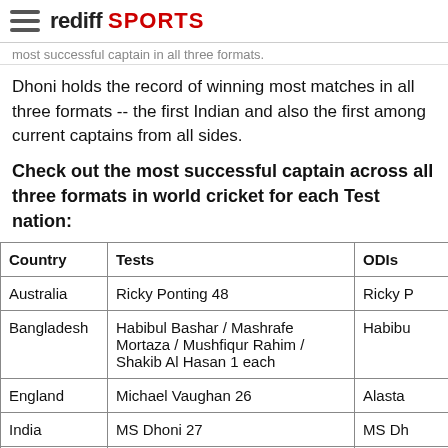rediff SPORTS
most successful captain in all three formats.
Dhoni holds the record of winning most matches in all three formats -- the first Indian and also the first among current captains from all sides.
Check out the most successful captain across all three formats in world cricket for each Test nation:
| Country | Tests | ODIs |
| --- | --- | --- |
| Australia | Ricky Ponting 48 | Ricky P |
| Bangladesh | Habibul Bashar / Mashrafe Mortaza / Mushfiqur Rahim / Shakib Al Hasan 1 each | Habibu |
| England | Michael Vaughan 26 | Alasta |
| India | MS Dhoni 27 | MS Dh |
| New Zealand | Stephen Fleming 28 | Stephe |
| Pakistan | Imran Khan / Javed Miandad 14 | Imran K |
| South Africa | Graeme Smith 50 |  |